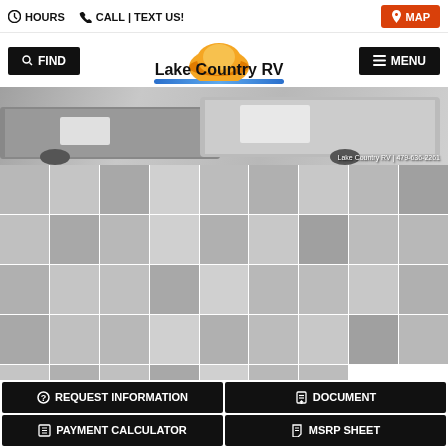HOURS   CALL | TEXT US!   MAP
Lake Country RV
FIND   MENU
[Figure (photo): Exterior photo of an RV/trailer at a dealership lot. Watermark reads: Lake Country RV | 479-636-2261]
[Figure (photo): Grid of approximately 45 thumbnail photos showing various interior and exterior views of the RV: exterior shots, tires, kitchen, bathroom, bedroom, storage areas, living space, and appliances.]
REQUEST INFORMATION
DOCUMENT
PAYMENT CALCULATOR
MSRP SHEET